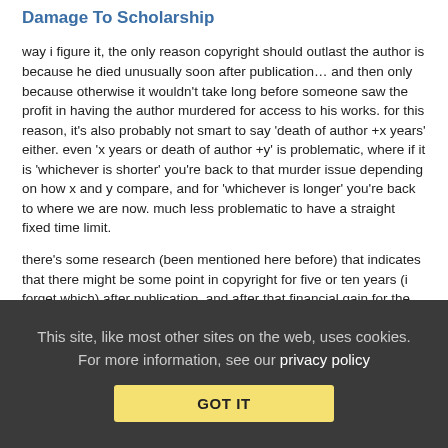Damage To Scholarship
way i figure it, the only reason copyright should outlast the author is because he died unusually soon after publication… and then only because otherwise it wouldn't take long before someone saw the profit in having the author murdered for access to his works. for this reason, it's also probably not smart to say 'death of author +x years' either. even 'x years or death of author +y' is problematic, where if it is 'whichever is shorter' you're back to that murder issue depending on how x and y compare, and for 'whichever is longer' you're back to where we are now. much less problematic to have a straight fixed time limit.
there's some research (been mentioned here before) that indicates that there might be some point in copyright for five or ten years (i forget which) after publication, and after that financial gain for the creators is limited at best even with it. based on this, it seems that after ten years it serves mostly to limit further
This site, like most other sites on the web, uses cookies. For more information, see our privacy policy
GOT IT